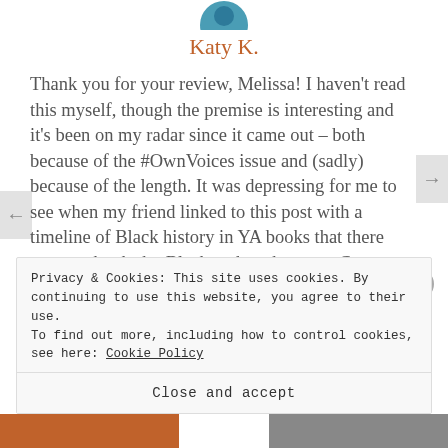[Figure (photo): Partial circular avatar image at top center, showing a blue-toned profile photo cropped at the bottom]
Katy K.
Thank you for your review, Melissa! I haven't read this myself, though the premise is interesting and it's been on my radar since it came out – both because of the #OwnVoices issue and (sadly) because of the length. It was depressing for me to see when my friend linked to this post with a timeline of Black history in YA books that there were no books by Black authors between Copper Sun in 1735 and 47, set in 1815. All the Blacks during the Revolutionary War books are by whites. It's very disheartening. https://bookriot.com/2014/02/05/black-
Privacy & Cookies: This site uses cookies. By continuing to use this website, you agree to their use.
To find out more, including how to control cookies, see here: Cookie Policy
Close and accept